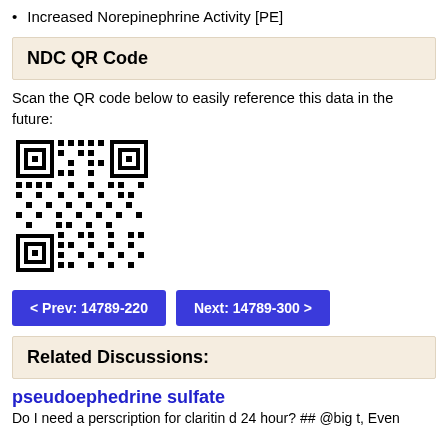Increased Norepinephrine Activity [PE]
NDC QR Code
Scan the QR code below to easily reference this data in the future:
[Figure (other): QR code for NDC data reference]
< Prev: 14789-220   Next: 14789-300 >
Related Discussions:
pseudoephedrine sulfate
Do I need a perscription for claritin d 24 hour? ## @big t, Even